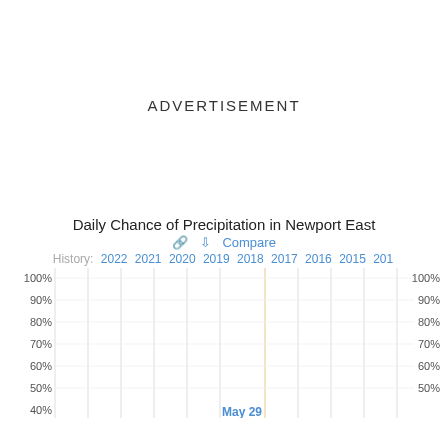ADVERTISEMENT
[Figure (continuous-plot): Partial bar chart showing daily chance of precipitation with y-axis from 40% to 100%. X-axis shows years 2022, 2021, 2020, 2019, 2018, 2017, 2016, 2015, 201... with a tooltip showing May 29. Chart is cropped at bottom showing 40% label.]